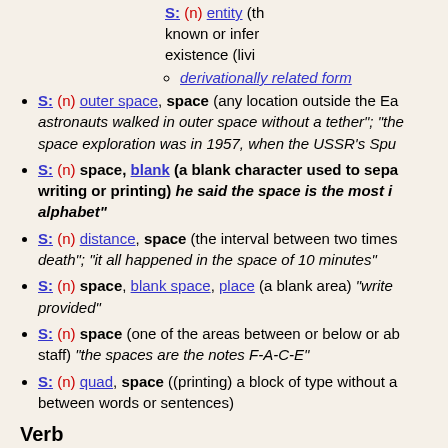S: (n) entity (th... known or infer... existence (livi...
derivationally related form
S: (n) outer space, space (any location outside the Ea... astronauts walked in outer space without a tether; the... space exploration was in 1957, when the USSR's Sput...
S: (n) space, blank (a blank character used to sepa... writing or printing) he said the space is the most i... alphabet
S: (n) distance, space (the interval between two times)... death; it all happened in the space of 10 minutes
S: (n) space, blank space, place (a blank area) write ... provided
S: (n) space (one of the areas between or below or ab... staff) the spaces are the notes F-A-C-E
S: (n) quad, space ((printing) a block of type without a... between words or sentences)
Verb
S: (v) space (place at intervals) Space the interviews... between the different candidates